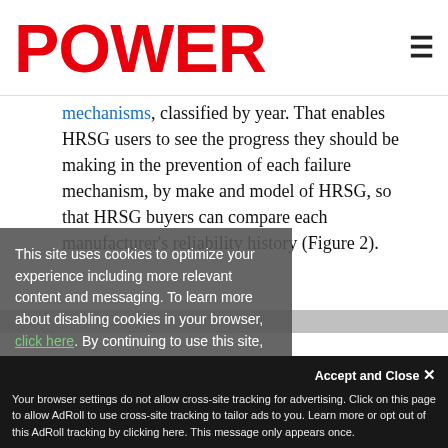POWER
mechanisms, classified by year. That enables HRSG users to see the progress they should be making in the prevention of each failure mechanism, by make and model of HRSG, so that HRSG buyers can compare each manufacturer's reliability history (Figure 2).
This site uses cookies to optimize your experience including more relevant content and messaging. To learn more about disabling cookies in your browser, click here. By continuing to use this site, you accept our use of cookies. For more information, view our updated Privacy Policy.
[Figure (screenshot): POWER WEBINAR ad box with text 'The Power of Water: Solving water challenges in the Power Industry' and a green button bar]
Your browser settings do not allow cross-site tracking for advertising. Click on this page to allow AdRoll to use cross-site tracking to tailor ads to you. Learn more or opt out of this AdRoll tracking by clicking here. This message only appears once.